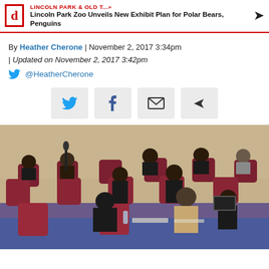LINCOLN PARK & OLD T...» Lincoln Park Zoo Unveils New Exhibit Plan for Polar Bears, Penguins
By Heather Cherone | November 2, 2017 3:34pm | Updated on November 2, 2017 3:42pm
@HeatherCherone
[Figure (screenshot): Social share buttons row: Twitter, Facebook, Email, Share icons]
[Figure (photo): Photo of people seated at a meeting room with maroon chairs and a blue table, appearing to be a city council or government meeting.]